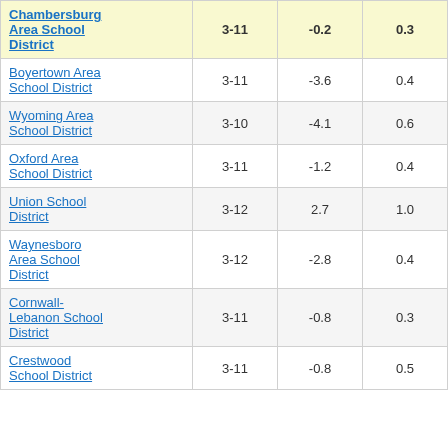| District | Grades | Col3 | Col4 | Score |
| --- | --- | --- | --- | --- |
| Chambersburg Area School District | 3-11 | -0.2 | 0.3 | -0.63 |
| Boyertown Area School District | 3-11 | -3.6 | 0.4 | -10.13 |
| Wyoming Area School District | 3-10 | -4.1 | 0.6 | -6.56 |
| Oxford Area School District | 3-11 | -1.2 | 0.4 | -2.58 |
| Union School District | 3-12 | 2.7 | 1.0 | 2.65 |
| Waynesboro Area School District | 3-12 | -2.8 | 0.4 | -7.51 |
| Cornwall-Lebanon School District | 3-11 | -0.8 | 0.3 | -2.37 |
| Crestwood School District | 3-11 | -0.8 | 0.5 | -1.58 |